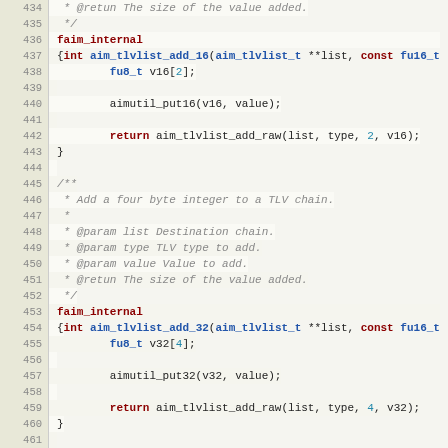Source code listing lines 434-463 showing C functions aim_tlvlist_add_16 and aim_tlvlist_add_32 with documentation comments